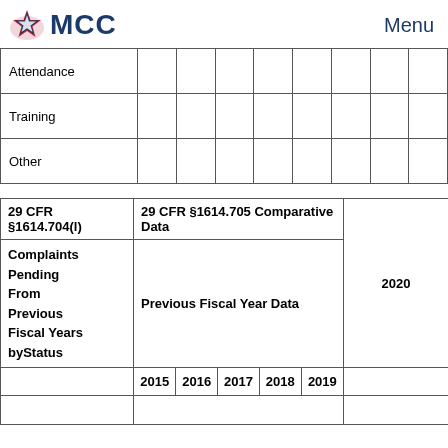MCC Menu
|  |  |  |  |  |  |  |  |  |
| --- | --- | --- | --- | --- | --- | --- | --- | --- |
| Attendance |  |  |  |  |  |  |  |  |
| Training |  |  |  |  |  |  |  |  |
| Other |  |  |  |  |  |  |  |  |
| 29 CFR §1614.704(l) | 29 CFR §1614.705 Comparative Data | 2020 |
| --- | --- | --- |
| Complaints Pending From Previous Fiscal Years byStatus | Previous Fiscal Year Data | 2020 |
|  | 2015 | 2016 | 2017 | 2018 | 2019 |  |
|  |  |  |